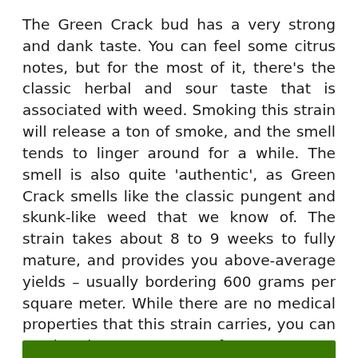The Green Crack bud has a very strong and dank taste. You can feel some citrus notes, but for the most of it, there's the classic herbal and sour taste that is associated with weed. Smoking this strain will release a ton of smoke, and the smell tends to linger around for a while. The smell is also quite 'authentic', as Green Crack smells like the classic pungent and skunk-like weed that we know of. The strain takes about 8 to 9 weeks to fully mature, and provides you above-average yields – usually bordering 600 grams per square meter. While there are no medical properties that this strain carries, you can use it to bust some stress for sure.
[Figure (other): Green horizontal bar/banner at the bottom of the page]